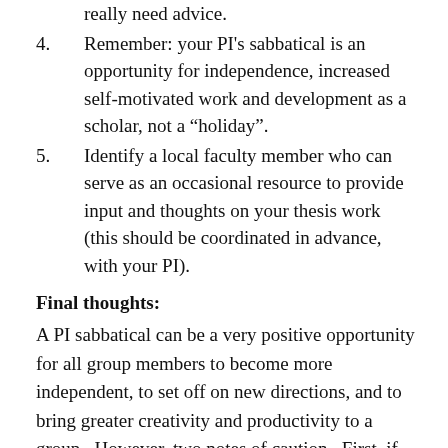really need advice.
4. Remember: your PI’s sabbatical is an opportunity for independence, increased self-motivated work and development as a scholar, not a “holiday”.
5. Identify a local faculty member who can serve as an occasional resource to provide input and thoughts on your thesis work (this should be coordinated in advance, with your PI).
Final thoughts:
A PI sabbatical can be a very positive opportunity for all group members to become more independent, to set off on new directions, and to bring greater creativity and productivity to a group.  However, two notes of caution.  First, if you are not yet in a group,